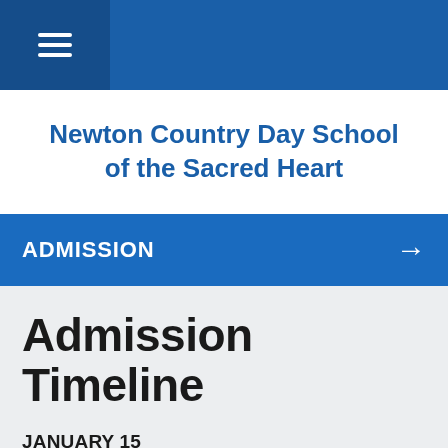≡
Newton Country Day School of the Sacred Heart
ADMISSION →
Admission Timeline
JANUARY 15
Deadline for submission of the following: